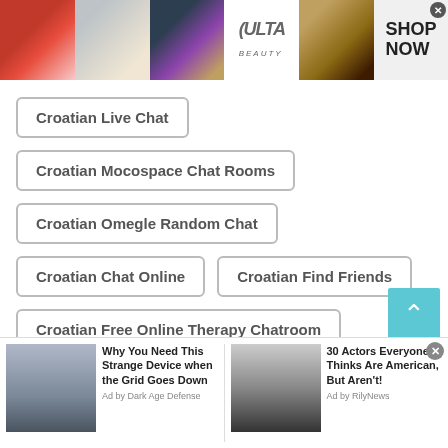[Figure (photo): Ulta Beauty advertisement banner with makeup images (lips, brush, eye, Ulta logo, eye closeup) and Shop Now button]
Croatian Live Chat
Croatian Mocospace Chat Rooms
Croatian Omegle Random Chat
Croatian Chat Online
Croatian Find Friends
Croatian Free Online Therapy Chatroom
Croatian Free Chat
Croatian Chat rooms
Croatian Free Texting Apps
[Figure (screenshot): Two native ad items at the bottom: 'Why You Need This Strange Device when the Grid Goes Down' by Dark Age Defense, and '30 Actors Everyone Thinks Are American, But Aren't!' by RilyNews]